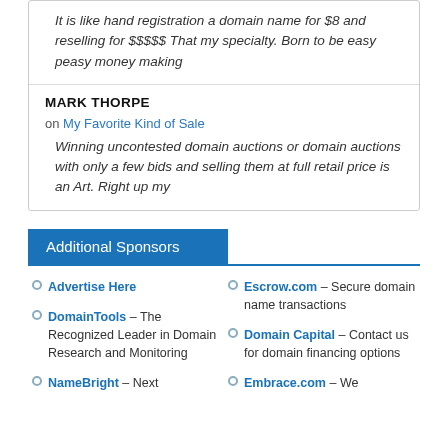It is like hand registration a domain name for $8 and reselling for $$$$$ That my specialty. Born to be easy peasy money making
MARK THORPE
on My Favorite Kind of Sale
Winning uncontested domain auctions or domain auctions with only a few bids and selling them at full retail price is an Art. Right up my
Additional Sponsors
Advertise Here
DomainTools – The Recognized Leader in Domain Research and Monitoring
NameBright – Next
Escrow.com – Secure domain name transactions
Domain Capital – Contact us for domain financing options
Embrace.com – We